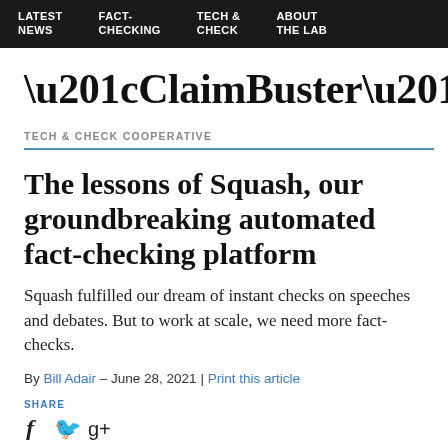LATEST NEWS | FACT-CHECKING | TECH & CHECK | ABOUT THE LAB
“ClaimBuster”
TECH & CHECK COOPERATIVE
The lessons of Squash, our groundbreaking automated fact-checking platform
Squash fulfilled our dream of instant checks on speeches and debates. But to work at scale, we need more fact-checks.
By Bill Adair – June 28, 2021 | Print this article
SHARE f 🐦 g+